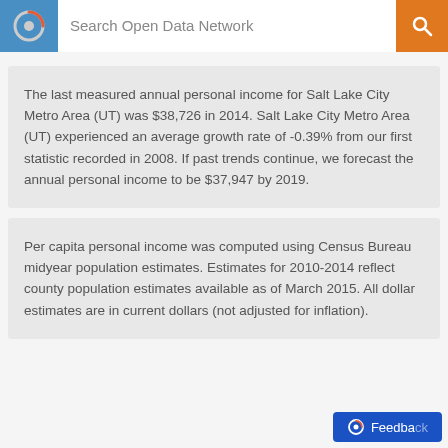Search Open Data Network
The last measured annual personal income for Salt Lake City Metro Area (UT) was $38,726 in 2014. Salt Lake City Metro Area (UT) experienced an average growth rate of -0.39% from our first statistic recorded in 2008. If past trends continue, we forecast the annual personal income to be $37,947 by 2019.
Per capita personal income was computed using Census Bureau midyear population estimates. Estimates for 2010-2014 reflect county population estimates available as of March 2015. All dollar estimates are in current dollars (not adjusted for inflation).